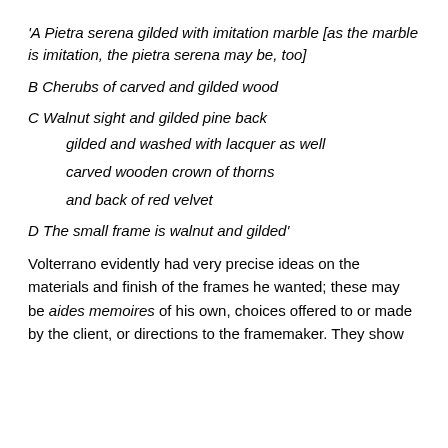'A Pietra serena gilded with imitation marble [as the marble is imitation, the pietra serena may be, too]
B Cherubs of carved and gilded wood
C Walnut sight and gilded pine back
gilded and washed with lacquer as well
carved wooden crown of thorns
and back of red velvet
D The small frame is walnut and gilded'
Volterrano evidently had very precise ideas on the materials and finish of the frames he wanted; these may be aides memoires of his own, choices offered to or made by the client, or directions to the framemaker. They show